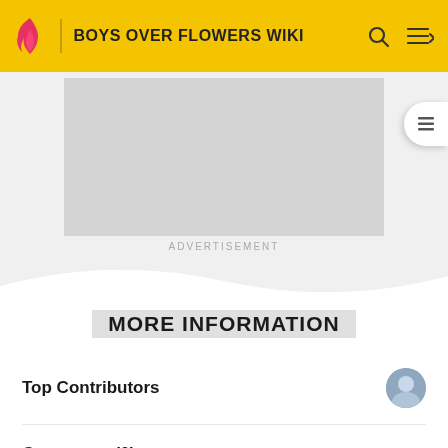BOYS OVER FLOWERS WIKI
[Figure (screenshot): Advertisement placeholder (grey box)]
ADVERTISEMENT
MORE INFORMATION
Top Contributors
Comments (0)
Categories
Community content is available under CC-BY-SA unless